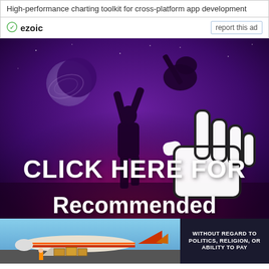High-performance charting toolkit for cross-platform app development
ezoic   report this ad
[Figure (photo): Purple/dark background advertisement image with silhouette of person holding guitar aloft under crescent moon, large white pointing hand cursor icon, text 'CLICK HERE FOR' in bold white, and partially visible text 'Recommended' at bottom]
[Figure (photo): Banner ad at bottom showing an airplane being loaded with cargo on tarmac, alongside a dark panel with text 'WITHOUT REGARD TO POLITICS, RELIGION, OR ABILITY TO PAY']